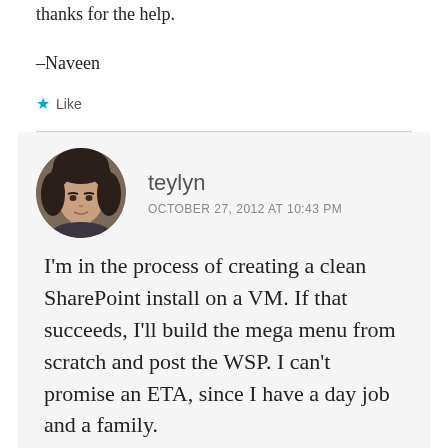thanks for the help.
–Naveen
★ Like
teylyn
OCTOBER 27, 2012 AT 10:43 PM
I'm in the process of creating a clean SharePoint install on a VM. If that succeeds, I'll build the mega menu from scratch and post the WSP. I can't promise an ETA, since I have a day job and a family.